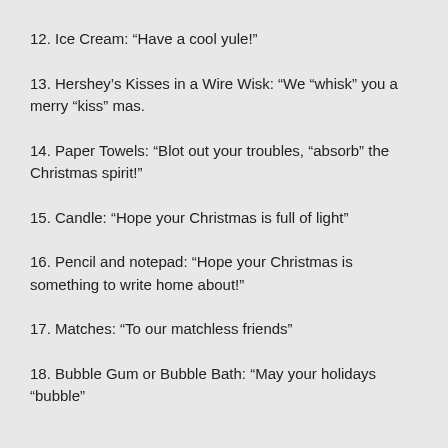12. Ice Cream: “Have a cool yule!”
13. Hershey’s Kisses in a Wire Wisk: “We “whisk” you a merry “kiss” mas.
14. Paper Towels: “Blot out your troubles, “absorb” the Christmas spirit!”
15. Candle: “Hope your Christmas is full of light”
16. Pencil and notepad: “Hope your Christmas is something to write home about!”
17. Matches: “To our matchless friends”
18. Bubble Gum or Bubble Bath: “May your holidays “bubble” over with fun!”